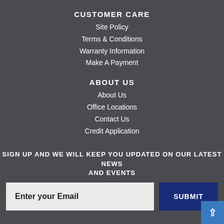CUSTOMER CARE
Site Policy
Terms & Conditions
Warranty Information
Make A Payment
ABOUT US
About Us
Office Locations
Contact Us
Credit Application
SIGN UP AND WE WILL KEEP YOU UPDATED ON OUR LATEST NEWS AND EVENTS
Enter your Email
SUBMIT